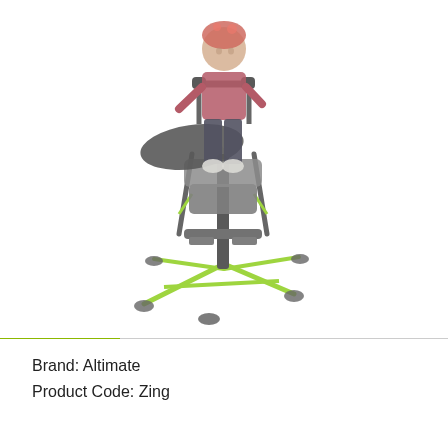[Figure (photo): A young child using a pediatric standing frame/stander device with green and black frame, casters, tray table, and support harness. The device is the Altimate Zing stander.]
Brand: Altimate
Product Code: Zing